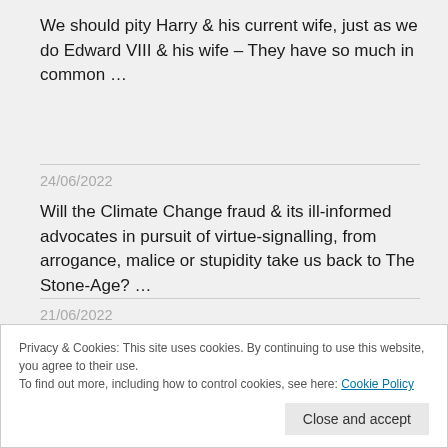We should pity Harry & his current wife, just as we do Edward VIII & his wife – They have so much in common …
24/06/2022
Will the Climate Change fraud & its ill-informed advocates in pursuit of virtue-signalling, from arrogance, malice or stupidity take us back to The Stone-Age? …
21/06/2022
Roe-vs-Wade granted liberty & choice to women & the dignity to be in command of their own bodies, life & health, NOT Slaves to Evil Laws …
Privacy & Cookies: This site uses cookies. By continuing to use this website, you agree to their use. To find out more, including how to control cookies, see here: Cookie Policy